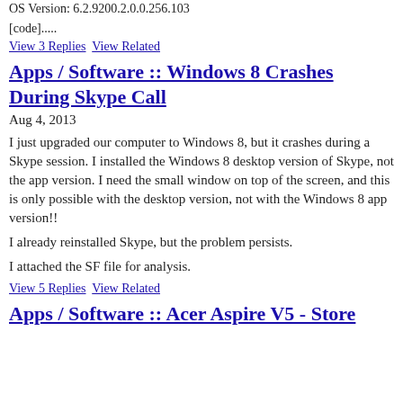OS Version: 6.2.9200.2.0.0.256.103
[code].....
View 3 Replies   View Related
Apps / Software :: Windows 8 Crashes During Skype Call
Aug 4, 2013
I just upgraded our computer to Windows 8, but it crashes during a Skype session. I installed the Windows 8 desktop version of Skype, not the app version. I need the small window on top of the screen, and this is only possible with the desktop version, not with the Windows 8 app version!!
I already reinstalled Skype, but the problem persists.
I attached the SF file for analysis.
View 5 Replies   View Related
Apps / Software :: Acer Aspire V5 - Store